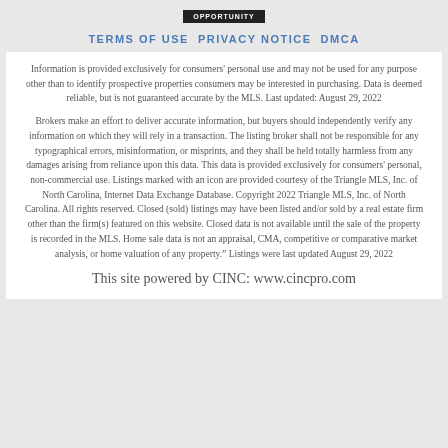OPPORTUNITY
TERMS OF USE PRIVACY NOTICE DMCA
Information is provided exclusively for consumers' personal use and may not be used for any purpose other than to identify prospective properties consumers may be interested in purchasing. Data is deemed reliable, but is not guaranteed accurate by the MLS. Last updated: August 29, 2022
Brokers make an effort to deliver accurate information, but buyers should independently verify any information on which they will rely in a transaction. The listing broker shall not be responsible for any typographical errors, misinformation, or misprints, and they shall be held totally harmless from any damages arising from reliance upon this data. This data is provided exclusively for consumers' personal, non-commercial use. Listings marked with an icon are provided courtesy of the Triangle MLS, Inc. of North Carolina, Internet Data Exchange Database. Copyright 2022 Triangle MLS, Inc. of North Carolina. All rights reserved. Closed (sold) listings may have been listed and/or sold by a real estate firm other than the firm(s) featured on this website. Closed data is not available until the sale of the property is recorded in the MLS. Home sale data is not an appraisal, CMA, competitive or comparative market analysis, or home valuation of any property." Listings were last updated August 29, 2022
This site powered by CINC: www.cincpro.com